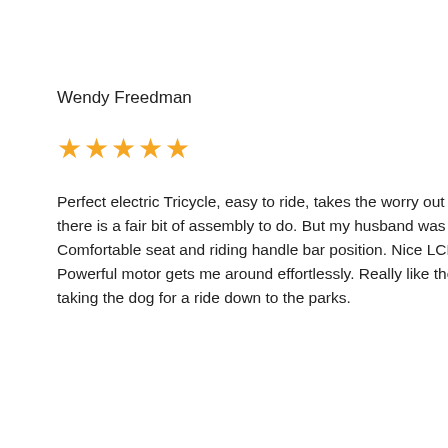Wendy Freedman
★★★★★
Perfect electric Tricycle, easy to ride, takes the worry out of riding a regular bike. Fast Delivery, comes in 2 boxes, so there is a fair bit of assembly to do. But my husband was able to do it within a few hours. Comes together really nicely. Comfortable seat and riding handle bar position. Nice LCD display controls, with digital speedo and battery meter. Powerful motor gets me around effortlessly. Really like the large storage baskets front and back. Great for shopping and taking the dog for a ride down to the parks.
Ken Bayliss
★★★★★
Bought the Reef Escape Tricycle model for my wife to join me on bicycle rides on the weekends. Onces its put together, it really is a pleasure to ride, and easy to use. The
We can...Coast, A...remote
Free de...profess...needs t
Tech
Moto
Batte
Thro
PAS:
Disp
Gear
Brak
Tyre
Seat:
Char
Bask
Max
Max
Max
Net W